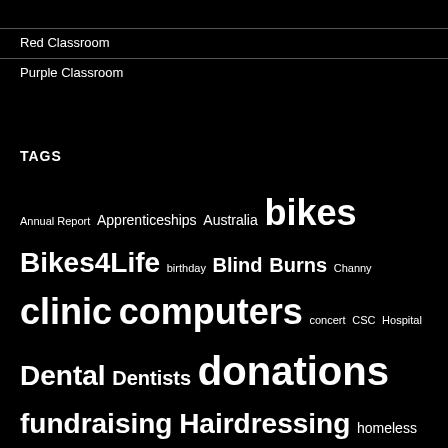Red Classroom
Purple Classroom
TAGS
Annual Report Apprenticeships Australia bikes Bikes4Life birthday Blind Burns Channy clinic computers concert CSC Hospital Dental Dentists donations fundraising Hairdressing homeless hospital IFC Kandal Province Kindergarten Latrobe University Leprosy Medical Milk Narrabeen Northbridge Open Arms orphanages Sambart scholarships sewing soccer Sokha sponsor a child Tally Koren Twins USA video village trip Vocational Training Westcoast Coaching